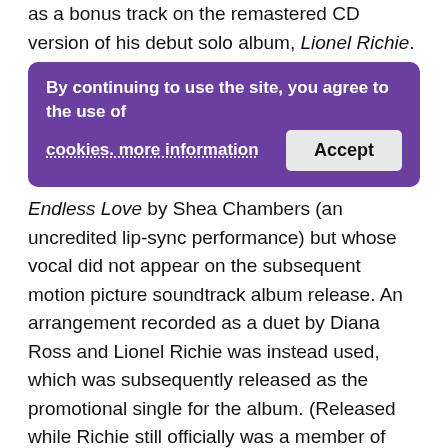as a bonus track on the remastered CD version of his debut solo album, Lionel Richie.
[Figure (screenshot): Cookie consent banner with purple background. Text reads: 'By continuing to use the site, you agree to the use of cookies. more information' with an 'Accept' button.]
"Endless Love" performed in the movie Endless Love by Shea Chambers (an uncredited lip-sync performance) but whose vocal did not appear on the subsequent motion picture soundtrack album release. An arrangement recorded as a duet by Diana Ross and Lionel Richie was instead used, which was subsequently released as the promotional single for the album. (Released while Richie still officially was a member of The Commodores. The success of the duet encouraged Richie to branch out into a full-fledged, and very successful, solo career.)
“The Ross/Richie duet became a #1 hit on the Billboard Hot 100, and nearly 30 years after its